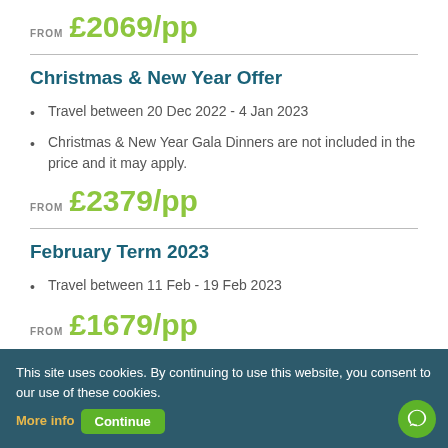FROM £2069/pp
Christmas & New Year Offer
Travel between 20 Dec 2022 - 4 Jan 2023
Christmas & New Year Gala Dinners are not included in the price and it may apply.
FROM £2379/pp
February Term 2023
Travel between 11 Feb - 19 Feb 2023
FROM £1679/pp
Easter Holiday 2023
This site uses cookies. By continuing to use this website, you consent to our use of these cookies. More info Continue